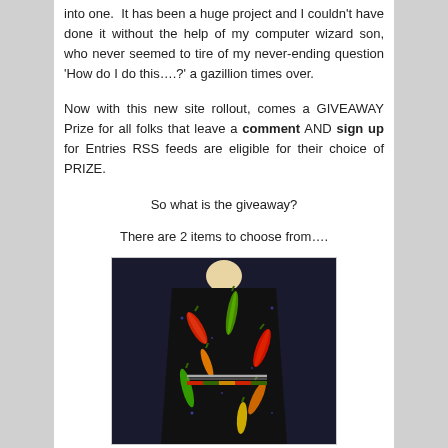into one.  It has been a huge project and I couldn't have done it without the help of my computer wizard son, who never seemed to tire of my never-ending question 'How do I do this….?' a gazillion times over.
Now with this new site rollout, comes a GIVEAWAY Prize for all folks that leave a comment AND sign up for Entries RSS feeds are eligible for their choice of PRIZE.
So what is the giveaway?
There are 2 items to choose from….
[Figure (photo): A fabric item (likely a bag or apron) displayed on a mannequin/dress form, featuring a black background with colorful chili pepper print in red, green, orange and yellow colors.]